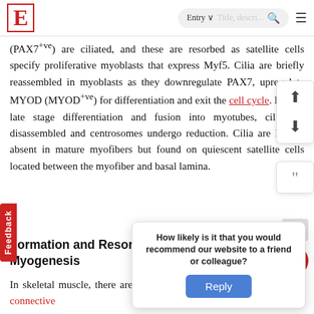E | Entry | Title, description... | search | menu
(PAX7+ve) are ciliated, and these are resorbed as satellite cells specify proliferative myoblasts that express Myf5. Cilia are briefly reassembled in myoblasts as they downregulate PAX7, upregulate MYOD (MYOD+ve) for differentiation and exit the cell cycle. During late stage differentiation and fusion into myotubes, cilia are disassembled and centrosomes undergo reduction. Cilia are largely absent in mature myofibers but found on quiescent satellite cells located between the myofiber and basal lamina.
Formation and Resorption of Cilia during Skeletal Myogenesis
In skeletal muscle, there are stem cells that are resident fibro/adipo connective